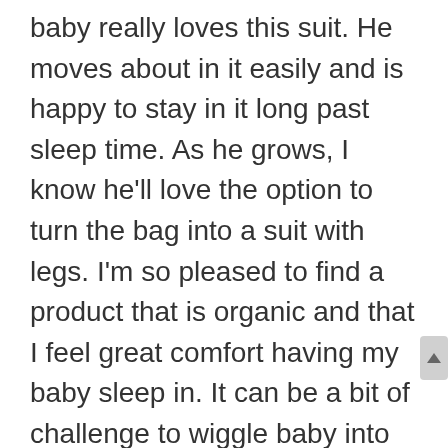baby really loves this suit. He moves about in it easily and is happy to stay in it long past sleep time. As he grows, I know he'll love the option to turn the bag into a suit with legs. I'm so pleased to find a product that is organic and that I feel great comfort having my baby sleep in. It can be a bit of challenge to wiggle baby into as it's a two-way zip that meets in the middle (doesn't open up fully) and I found the sizing a bit small (my 2-12 months size is too short at 8 months. Plenty of room so far in the 8-24 months) Really awesome sleeping bag that suits our